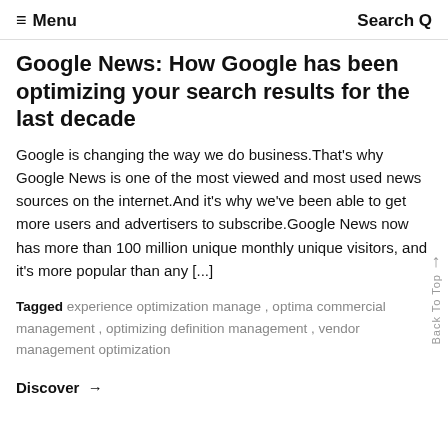≡ Menu   Search Q
Google News: How Google has been optimizing your search results for the last decade
Google is changing the way we do business.That's why Google News is one of the most viewed and most used news sources on the internet.And it's why we've been able to get more users and advertisers to subscribe.Google News now has more than 100 million unique monthly unique visitors, and it's more popular than any [...]
Tagged experience optimization manage , optima commercial management , optimizing definition management , vendor management optimization
Discover →